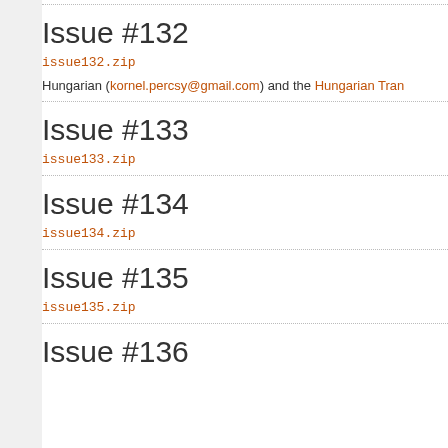Issue #132
issue132.zip
Hungarian (kornel.percsy@gmail.com) and the Hungarian Tran
Issue #133
issue133.zip
Issue #134
issue134.zip
Issue #135
issue135.zip
Issue #136